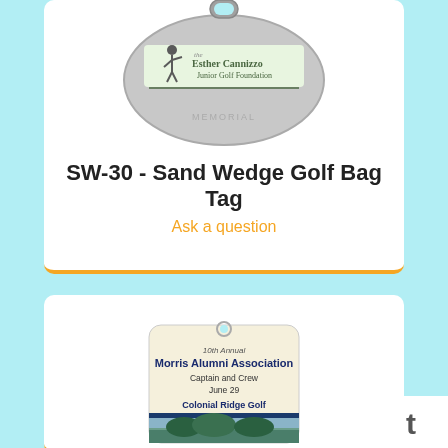[Figure (photo): Silver oval-shaped sand wedge golf bag tag with the Esther Cannizzo Junior Golf Foundation logo and a golfer silhouette]
SW-30 - Sand Wedge Golf Bag Tag
Ask a question
[Figure (photo): Luggage-style golf bag tag for 10th Annual Morris Alumni Association, Captain and Crew, June 29, Colonial Ridge Golf, with a golf course landscape photo at the bottom]
[Figure (logo): Twitter bird icon in a white square box in the bottom right corner]